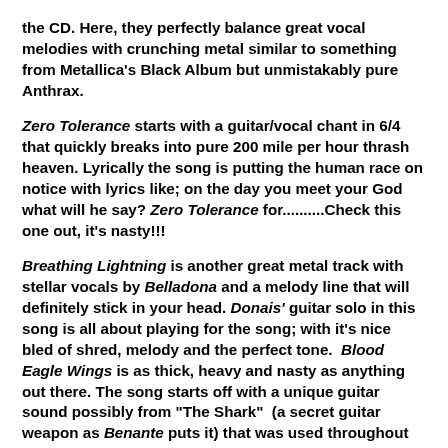the CD. Here, they perfectly balance great vocal melodies with crunching metal similar to something from Metallica's Black Album but unmistakably pure Anthrax.
Zero Tolerance starts with a guitar/vocal chant in 6/4 that quickly breaks into pure 200 mile per hour thrash heaven. Lyrically the song is putting the human race on notice with lyrics like; on the day you meet your God what will he say? Zero Tolerance for..........Check this one out, it's nasty!!!
Breathing Lightning is another great metal track with stellar vocals by Belladona and a melody line that will definitely stick in your head. Donais' guitar solo in this song is all about playing for the song; with it's nice bled of shred, melody and the perfect tone. Blood Eagle Wings is as thick, heavy and nasty as anything out there. The song starts off with a unique guitar sound possibly from "The Shark" (a secret guitar weapon as Benante puts it) that was used throughout the writing process. The chorus has